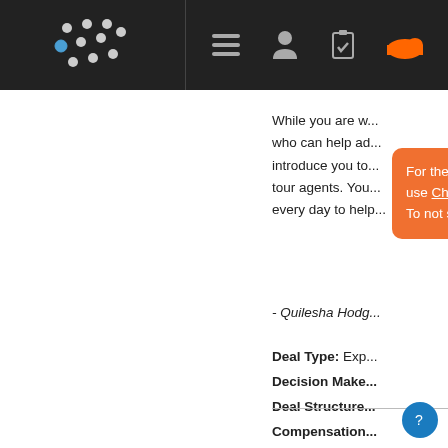Music Xray navigation bar with logo, hamburger menu, user icon, clipboard icon, SoundCloud icon
For the best browsing experince on Music Xray use Chrome. To not see this warning again Click Here
While you are wo... who can help ad... introduce you to... tour agents. You... every day to help...
- Quilesha Hodg...
Deal Type: Exp...
Decision Make...
Deal Structure...
Compensation...
Song Quality: R...
Similar Soundin...